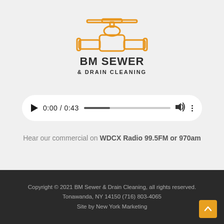[Figure (logo): BM Sewer & Drain Cleaning logo — orange pipe valve illustration above bold text BM SEWER & DRAIN CLEANING]
[Figure (other): Audio player widget showing 0:00 / 0:43 with play button, progress bar, volume, and more options]
Hear our commercial on WDCX Radio 99.5FM or 970am
Copyright © 2021 BM Sewer & Drain Cleaning, all rights reserved.
Tonawanda, NY 14150 (716) 803-4065
Site by New York Marketing